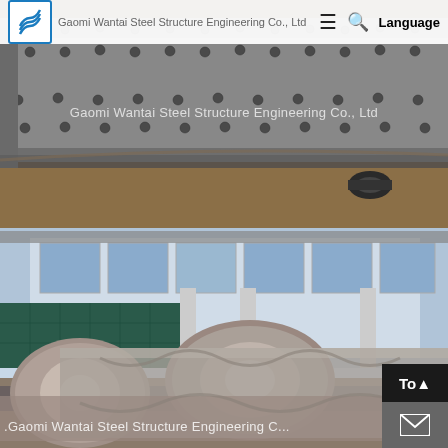Gaomi Wantai Steel Structure Engineering Co., Ltd — Language
[Figure (photo): Close-up photo of a large steel structural beam/girder with welded stud connectors (shear studs) along its top flange, resting on a steel plate surface in a factory/yard setting.]
[Figure (photo): Outdoor photo of large steel tubular columns/pipes loaded on a flatbed truck trailer, with a glass-and-steel industrial building in the background. Watermark reads: Gaomi Wantai Steel Structure Engineering C...]